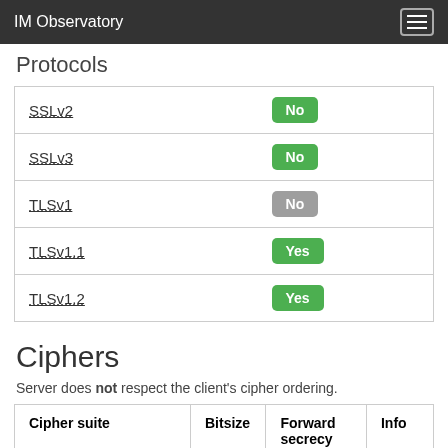IM Observatory
Protocols
| Protocol | Status |
| --- | --- |
| SSLv2 | No |
| SSLv3 | No |
| TLSv1 | No |
| TLSv1.1 | Yes |
| TLSv1.2 | Yes |
Ciphers
Server does not respect the client's cipher ordering.
| Cipher suite | Bitsize | Forward secrecy | Info |
| --- | --- | --- | --- |